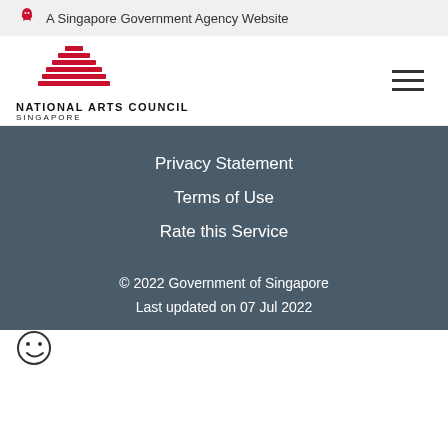A Singapore Government Agency Website
[Figure (logo): National Arts Council Singapore logo with red mountain-like stripes emblem]
Privacy Statement
Terms of Use
Rate this Service
© 2022 Government of Singapore
Last updated on 07 Jul 2022
[Figure (illustration): Smiley face emoji icon]